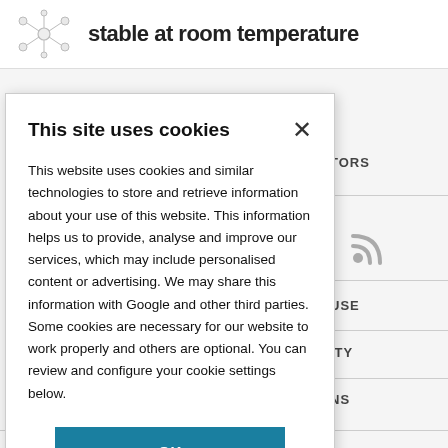[Figure (screenshot): Partial view of website page behind a cookie consent modal. Shows a molecule/network image on the upper left, a partial page title 'stable at room temperature', and navigation labels including 'ITORS', 'USE', 'ITY', 'NS' on the right side, along with a play button triangle and RSS feed icon.]
This site uses cookies
This website uses cookies and similar technologies to store and retrieve information about your use of this website. This information helps us to provide, analyse and improve our services, which may include personalised content or advertising. We may share this information with Google and other third parties. Some cookies are necessary for our website to work properly and others are optional. You can review and configure your cookie settings below.
OK
COOKIE SETTINGS